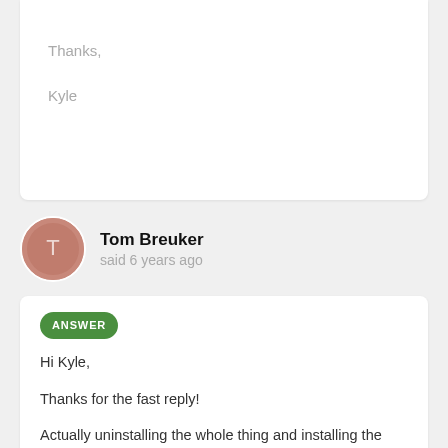Thanks,

Kyle
Tom Breuker
said 6 years ago
ANSWER

Hi Kyle,

Thanks for the fast reply!

Actually uninstalling the whole thing and installing the upgraded version did the whole trick for me. I was just looking for this ticket to update you.

thanks,